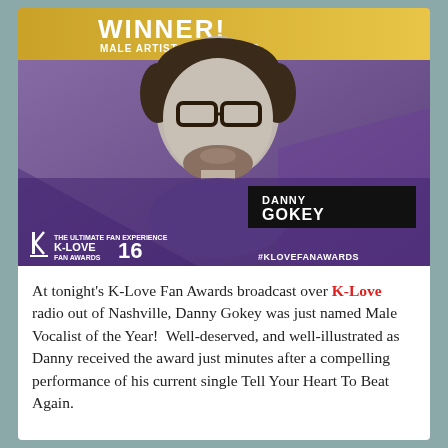[Figure (photo): Award graphic for Danny Gokey winning Male Artist of the Year at K-Love Fan Awards 2016. Shows a black-and-white photo of Danny Gokey (a man with glasses and beard) against a purple-tinted background. Top banner in gold/yellow reads 'WINNER! MALE ARTIST OF THE YEAR'. Bottom-left shows K-Love Fan Awards 16 logo. Bottom-right shows '#KLOVEFANAWARDS'. A black nameplate reads 'DANNY GOKEY'.]
At tonight's K-Love Fan Awards broadcast over K-Love radio out of Nashville, Danny Gokey was just named Male Vocalist of the Year!  Well-deserved, and well-illustrated as Danny received the award just minutes after a compelling performance of his current single Tell Your Heart To Beat Again.